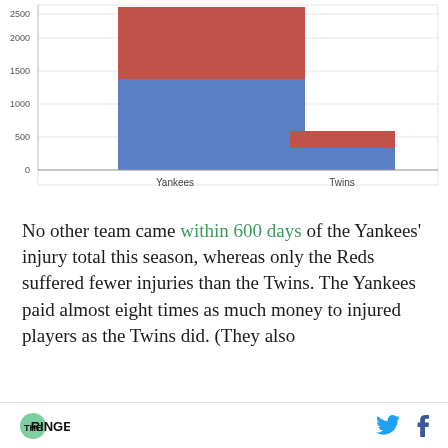[Figure (stacked-bar-chart): ]
No other team came within 600 days of the Yankees' injury total this season, whereas only the Reds suffered fewer injuries than the Twins. The Yankees paid almost eight times as much money to injured players as the Twins did. (They also
THE RINGER